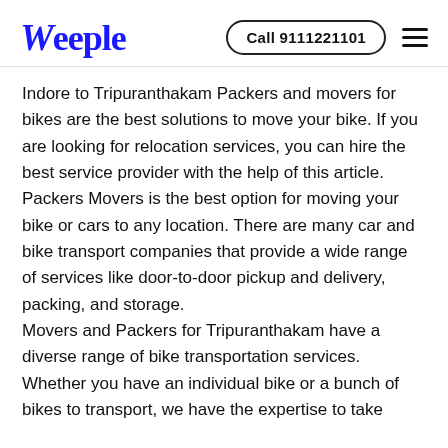Weeple | Call 9111221101
Indore to Tripuranthakam Packers and movers for bikes are the best solutions to move your bike. If you are looking for relocation services, you can hire the best service provider with the help of this article.
Packers Movers is the best option for moving your bike or cars to any location. There are many car and bike transport companies that provide a wide range of services like door-to-door pickup and delivery, packing, and storage.
Movers and Packers for Tripuranthakam have a diverse range of bike transportation services. Whether you have an individual bike or a bunch of bikes to transport, we have the expertise to take